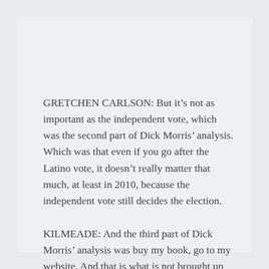GRETCHEN CARLSON: But it’s not as important as the independent vote, which was the second part of Dick Morris’ analysis. Which was that even if you go after the Latino vote, it doesn’t really matter that much, at least in 2010, because the independent vote still decides the election.
KILMEADE: And the third part of Dick Morris’ analysis was buy my book, go to my website. And that is what is not brought up enough. [Fox News Radio, Kilmeade & Friends, 7/8/10]